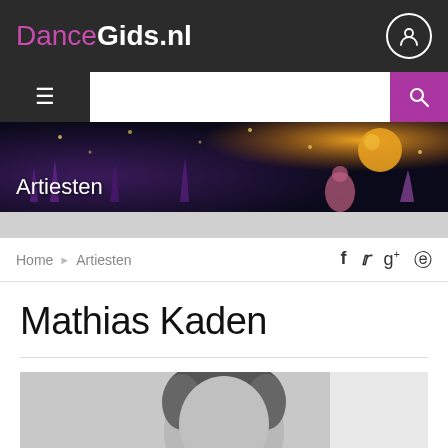DanceGids.nl
Mathias Kaden
Home › Artiesten
Artiesten
[Figure (photo): Black and white portrait photo of Mathias Kaden, showing the top of the head with dark hair]